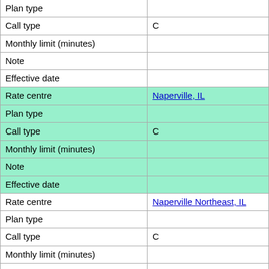| Plan type |  |
| Call type | C |
| Monthly limit (minutes) |  |
| Note |  |
| Effective date |  |
| Rate centre | Naperville, IL |
| Plan type |  |
| Call type | C |
| Monthly limit (minutes) |  |
| Note |  |
| Effective date |  |
| Rate centre | Naperville Northeast, IL |
| Plan type |  |
| Call type | C |
| Monthly limit (minutes) |  |
| Note |  |
| Effective date |  |
| Rate centre | New Lenox, IL |
| Plan type |  |
| Call type | C |
| Monthly limit (minutes) |  |